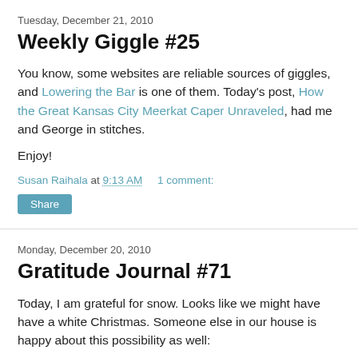Tuesday, December 21, 2010
Weekly Giggle #25
You know, some websites are reliable sources of giggles, and Lowering the Bar is one of them. Today's post, How the Great Kansas City Meerkat Caper Unraveled, had me and George in stitches.
Enjoy!
Susan Raihala at 9:13 AM     1 comment:
Share
Monday, December 20, 2010
Gratitude Journal #71
Today, I am grateful for snow. Looks like we might have have a white Christmas. Someone else in our house is happy about this possibility as well: